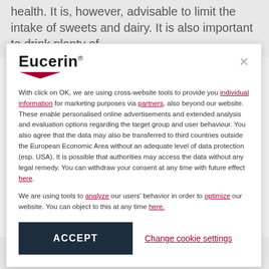health. It is, however, advisable to limit the intake of sweets and dairy. It is also important to drink plenty of
[Figure (logo): Eucerin brand logo with red chevron/arrow beneath the text]
With click on OK, we are using cross-website tools to provide you individual information for marketing purposes via partners, also beyond our website. These enable personalised online advertisements and extended analysis and evaluation options regarding the target group and user behaviour. You also agree that the data may also be transferred to third countries outside the European Economic Area without an adequate level of data protection (esp. USA). It is possible that authorities may access the data without any legal remedy. You can withdraw your consent at any time with future effect here.
We are using tools to analyze our users' behavior in order to optimize our website. You can object to this at any time here.
ACCEPT
Change cookie settings
Drink plenty of water.